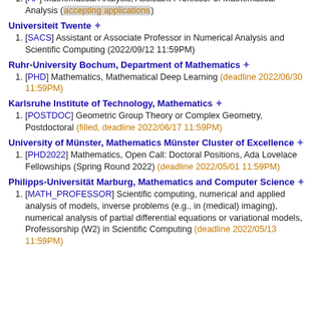[AP] Mathematical Analysis, Assistant Professor of Mathematical Analysis (accepting applications)
Universiteit Twente ✦
[SACS] Assistant or Associate Professor in Numerical Analysis and Scientific Computing (2022/09/12 11:59PM)
Ruhr-University Bochum, Department of Mathematics ✦
[PHD] Mathematics, Mathematical Deep Learning (deadline 2022/06/30 11:59PM)
Karlsruhe Institute of Technology, Mathematics ✦
[POSTDOC] Geometric Group Theory or Complex Geometry, Postdoctoral (filled, deadline 2022/06/17 11:59PM)
University of Münster, Mathematics Münster Cluster of Excellence ✦
[PHD2022] Mathematics, Open Call: Doctoral Positions, Ada Lovelace Fellowships (Spring Round 2022) (deadline 2022/05/01 11:59PM)
Philipps-Universität Marburg, Mathematics and Computer Science ✦
[MATH_PROFESSOR] Scientific computing, numerical and applied analysis of models, inverse problems (e.g., in (medical) imaging), numerical analysis of partial differential equations or variational models, Professorship (W2) in Scientific Computing (deadline 2022/05/13 11:59PM)